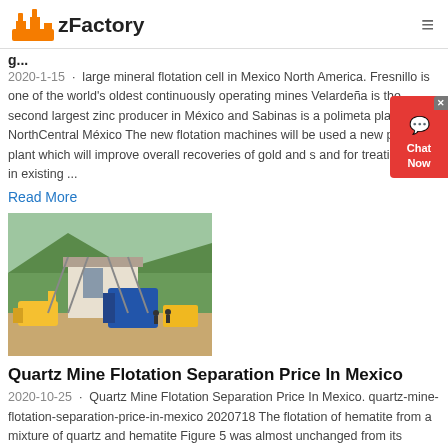zFactory
g...
2020-1-15 · large mineral flotation cell in Mexico North America. Fresnillo is one of the world's oldest continuously operating mines Velardeña is the second largest zinc producer in México and Sabinas is a polimeta plant in NorthCentral México The new flotation machines will be used a new pyrite plant which will improve overall recoveries of gold and s and for treating ores in existing ...
Read More
[Figure (photo): Outdoor industrial mining/crushing plant facility with yellow excavators and blue machinery on a sandy lot with green hillside in background]
Quartz Mine Flotation Separation Price In Mexico
2020-10-25 · Quartz Mine Flotation Separation Price In Mexico. quartz-mine-flotation-separation-price-in-mexico 2020718 The flotation of hematite from a mixture of quartz and hematite Figure 5 was almost unchanged from its flotation behavior alone There was a smaller quantity